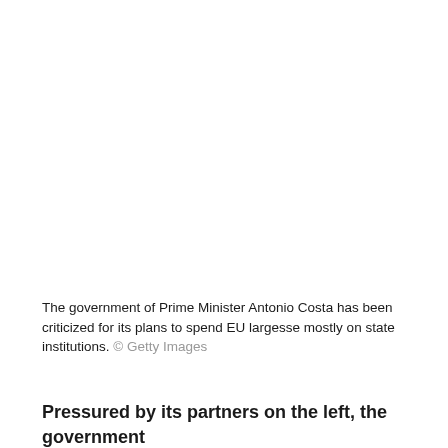The government of Prime Minister Antonio Costa has been criticized for its plans to spend EU largesse mostly on state institutions. © Getty Images
Pressured by its partners on the left, the government